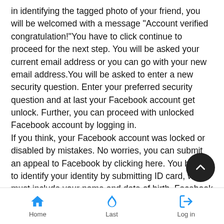in identifying the tagged photo of your friend, you will be welcomed with a message "Account verified congratulation!"You have to click continue to proceed for the next step. You will be asked your current email address or you can go with your new email address.You will be asked to enter a new security question. Enter your preferred security question and at last your Facebook account get unlock. Further, you can proceed with unlocked Facebook account by logging in.
If you think, your Facebook account was locked or disabled by mistakes. No worries, you can submit an appeal to Facebook by clicking here. You have to identify your identity by submitting ID card, which must include your name and date of birth. Facebook will give you an option to identify yourself. Firstly, you can submit any government issued ID that must contain your name and date of birth.
Home  Last  Log in